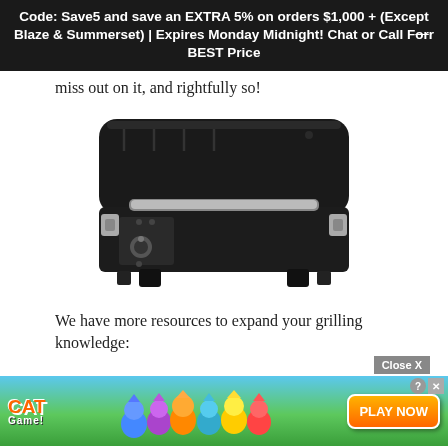Code: Save5 and save an EXTRA 5% on orders $1,000 + (Except Blaze & Summerset) | Expires Monday Midnight! Chat or Call For BEST Price
miss out on it, and rightfully so!
[Figure (photo): A black portable pellet grill/smoker shown from the front, with a stainless steel handle bar across the front door, latches on each side, control knobs on the lower left, and rubber feet on the bottom.]
We have more resources to expand your grilling knowledge:
[Figure (screenshot): A mobile game advertisement for 'Cat Game!' showing cartoon cat characters on a colorful background with a 'PLAY NOW' button and a 'Close X' button overlay.]